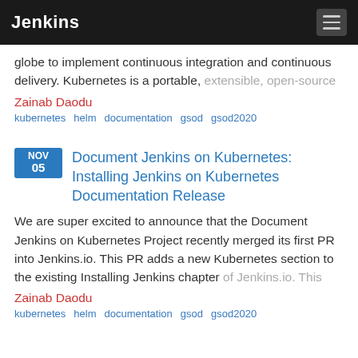Jenkins
globe to implement continuous integration and continuous delivery. Kubernetes is a portable, extensible, open-source
Zainab Daodu
kubernetes  helm  documentation  gsod  gsod2020
Document Jenkins on Kubernetes: Installing Jenkins on Kubernetes Documentation Release
We are super excited to announce that the Document Jenkins on Kubernetes Project recently merged its first PR into Jenkins.io. This PR adds a new Kubernetes section to the existing Installing Jenkins chapter of Jenkins.io. This
Zainab Daodu
kubernetes  helm  documentation  gsod  gsod2020